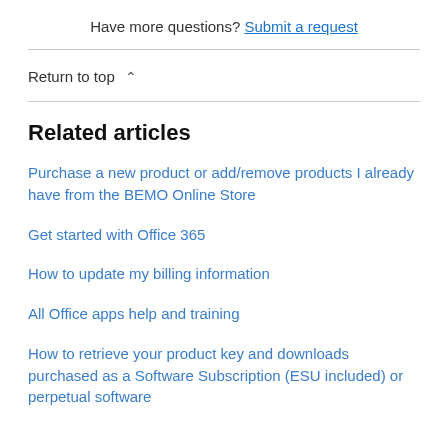Have more questions? Submit a request
Return to top
Related articles
Purchase a new product or add/remove products I already have from the BEMO Online Store
Get started with Office 365
How to update my billing information
All Office apps help and training
How to retrieve your product key and downloads purchased as a Software Subscription (ESU included) or perpetual software